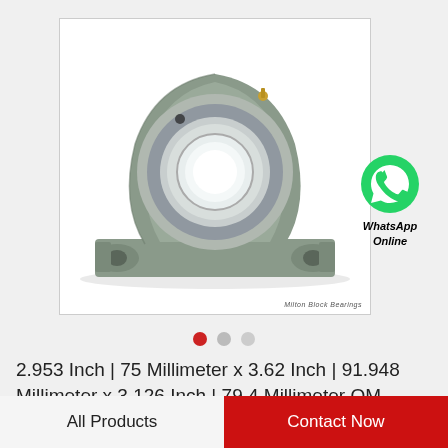[Figure (photo): Gray cast iron pillow block bearing unit with a stainless steel bore insert and two mounting holes, product photo on white background with a small gold grease fitting visible at top right.]
WhatsApp Online
2.953 Inch | 75 Millimeter x 3.62 Inch | 91.948 Millimeter x 3.126 Inch | 79.4 Millimeter QM…
All Products
Contact Now